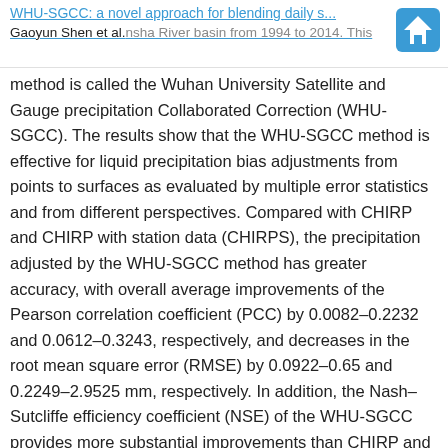WHU-SGCC: a novel approach for blending daily s... Gaoyun Shen et al.
method is called the Wuhan University Satellite and Gauge precipitation Collaborated Correction (WHU-SGCC). The results show that the WHU-SGCC method is effective for liquid precipitation bias adjustments from points to surfaces as evaluated by multiple error statistics and from different perspectives. Compared with CHIRP and CHIRP with station data (CHIRPS), the precipitation adjusted by the WHU-SGCC method has greater accuracy, with overall average improvements of the Pearson correlation coefficient (PCC) by 0.0082–0.2232 and 0.0612–0.3243, respectively, and decreases in the root mean square error (RMSE) by 0.0922–0.65 and 0.2249–2.9525 mm, respectively. In addition, the Nash–Sutcliffe efficiency coefficient (NSE) of the WHU-SGCC provides more substantial improvements than CHIRP and CHIRPS, which reached 0.2836, 0.2944, and 0.1853 in the spring, autumn, and winter. Daily accuracy evaluations